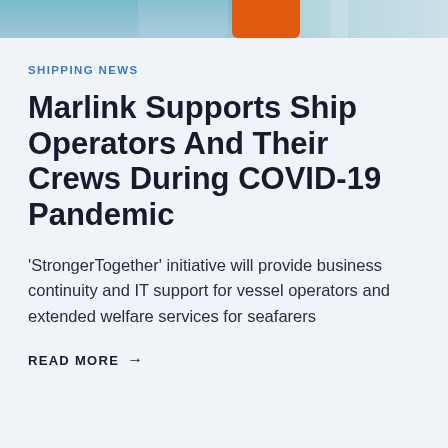[Figure (photo): Partial photo of seafarers/ship crew in orange gear against a blue sky/sea background, cropped at top of page]
SHIPPING NEWS
Marlink Supports Ship Operators And Their Crews During COVID-19 Pandemic
'StrongerTogether' initiative will provide business continuity and IT support for vessel operators and extended welfare services for seafarers
READ MORE →